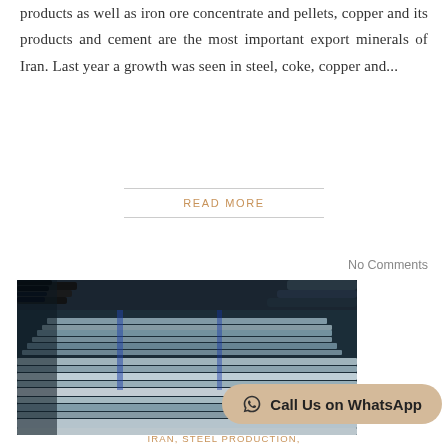products as well as iron ore concentrate and pellets, copper and its products and cement are the most important export minerals of Iran. Last year a growth was seen in steel, coke, copper and...
READ MORE
No Comments
[Figure (photo): Industrial warehouse with stacked steel pipes and metal tubes in a factory setting, with blue and silver metallic tones]
Call Us on WhatsApp
IRAN, STEEL PRODUCTION,